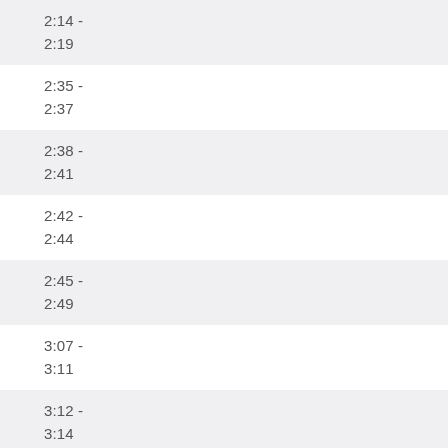2:14 -
2:19
2:35 -
2:37
2:38 -
2:41
2:42 -
2:44
2:45 -
2:49
3:07 -
3:11
3:12 -
3:14